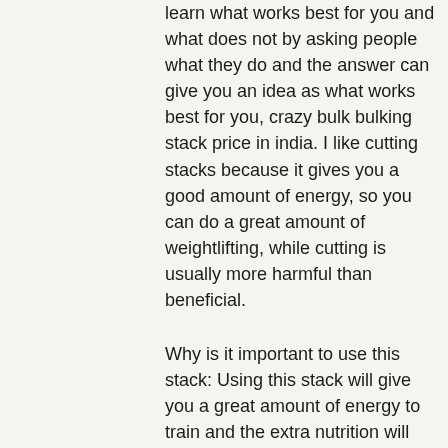learn what works best for you and what does not by asking people what they do and the answer can give you an idea as what works best for you, crazy bulk bulking stack price in india. I like cutting stacks because it gives you a good amount of energy, so you can do a great amount of weightlifting, while cutting is usually more harmful than beneficial.
Why is it important to use this stack: Using this stack will give you a great amount of energy to train and the extra nutrition will help you get lean faster, crazy bulk bulking stack side effects. It will also burn a lot of calories if you use it on a regular basis, crazy bulk d bal before and after.
If you are new to cutting stack, how do you use it, crazy bulk bulking stack review? I am going to tell you how that